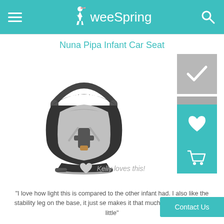weeSpring
Nuna Pipa Infant Car Seat
[Figure (photo): Nuna Pipa infant car seat in dark gray/black with light gray interior, shown with handle up]
Kelly loves this!
"I love how light this is compared to the other infant had. I also like the stability leg on the base, it just se makes it that much more safe for our little"